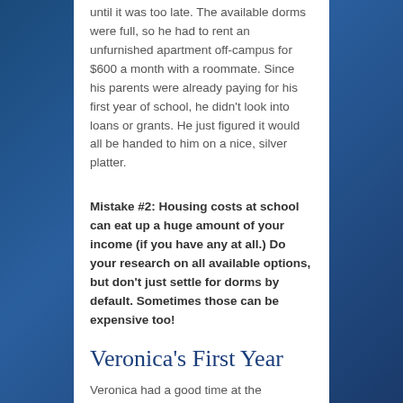until it was too late. The available dorms were full, so he had to rent an unfurnished apartment off-campus for $600 a month with a roommate. Since his parents were already paying for his first year of school, he didn't look into loans or grants. He just figured it would all be handed to him on a nice, silver platter.
Mistake #2: Housing costs at school can eat up a huge amount of your income (if you have any at all.) Do your research on all available options, but don't just settle for dorms by default. Sometimes those can be expensive too!
Veronica's First Year
Veronica had a good time at the